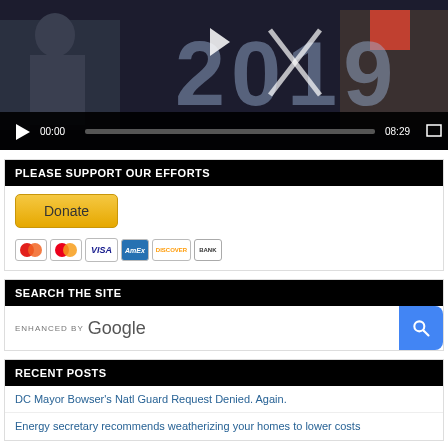[Figure (screenshot): Video player showing '2019' text overlay with people in background, video controls showing 00:00 / 08:29]
PLEASE SUPPORT OUR EFFORTS
[Figure (other): Donate button with PayPal styling and payment method icons (Mastercard, VISA, AmEx, Discover, Bank)]
SEARCH THE SITE
[Figure (other): Enhanced by Google search bar with blue search button]
RECENT POSTS
DC Mayor Bowser's Natl Guard Request Denied. Again.
Energy secretary recommends weatherizing your homes to lower costs